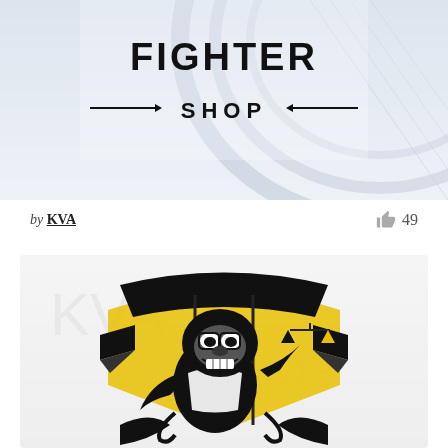[Figure (illustration): Fighter Shop banner header with bold stylized text FIGHTER and SHOP on an architectural/building background in light blue-grey tones]
by KVA
49
[Figure (illustration): Black and yellow cartoon illustration of a muscular ape/monkey character in a fighting pose, wearing a suit, holding scales of justice, with decorative tribal/crest design elements around it on a light textured background]